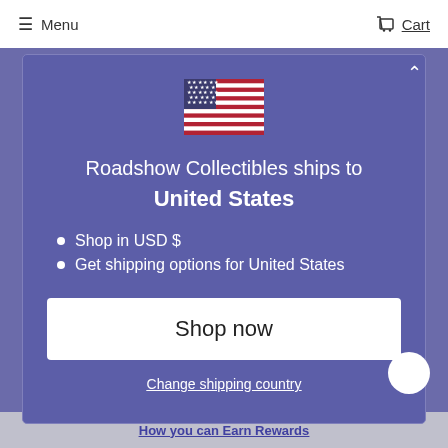Menu  Cart
[Figure (illustration): US flag emoji/icon]
Roadshow Collectibles ships to United States
Shop in USD $
Get shipping options for United States
Shop now
Change shipping country
How you can Earn Rewards